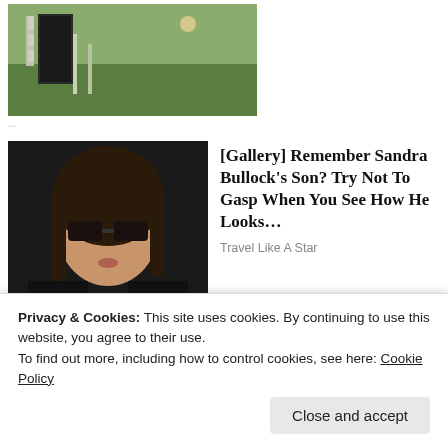[Figure (photo): Thumbnail image of outdoor scene with green grass and a dark structure, partially visible at top of page]
...
[Figure (photo): Photo of a woman with long dark hair and sunglasses, wearing a dark jacket]
[Gallery] Remember Sandra Bullock's Son? Try Not To Gasp When You See How He Looks…
Travel Like A Star
[Figure (photo): Teal/blue background with a $100 US dollar bill being held, showing MD02553414A serial number]
Privacy & Cookies: This site uses cookies. By continuing to use this website, you agree to their use.
To find out more, including how to control cookies, see here: Cookie Policy
Close and accept